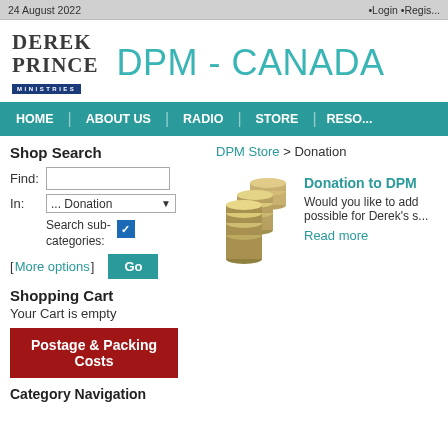24 August 2022 · Login · Register
[Figure (logo): Derek Prince Ministries logo with dark blue banner reading MINISTRIES]
DPM - CANADA
HOME | ABOUT US | RADIO | STORE | RESOURCES
Shop Search
Find: [text input] In: ... Donation [dropdown] Search sub-categories: [checked checkbox] [ More options ] Go
DPM Store > Donation
Shopping Cart
Your Cart is empty
Postage & Packing Costs
Category Navigation
[Figure (photo): Stack of coins photo]
Donation to DPM
Would you like to add to make possible for Derek's s...
Read more